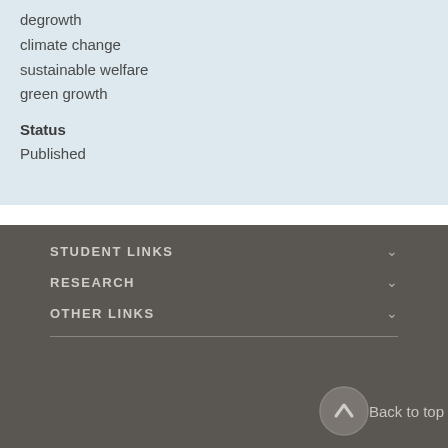degrowth
climate change
sustainable welfare
green growth
Status
Published
STUDENT LINKS
RESEARCH
OTHER LINKS
Back to top